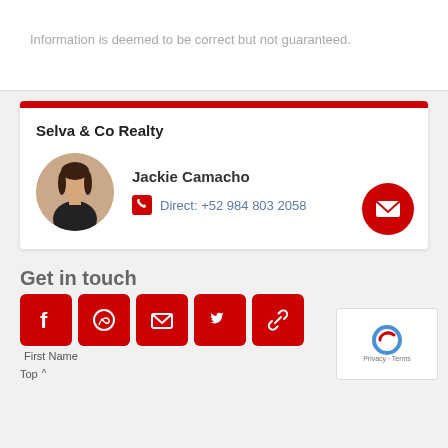Information is deemed to be correct but not guaranteed.
Selva & Co Realty
[Figure (photo): Circular portrait photo of Jackie Camacho, a woman with long hair wearing a black outfit]
Jackie Camacho
Direct: +52 984 803 2058
Get in touch
[Figure (infographic): Social media share buttons: Facebook, WhatsApp, Email, Twitter, Link]
First Name
Top ^